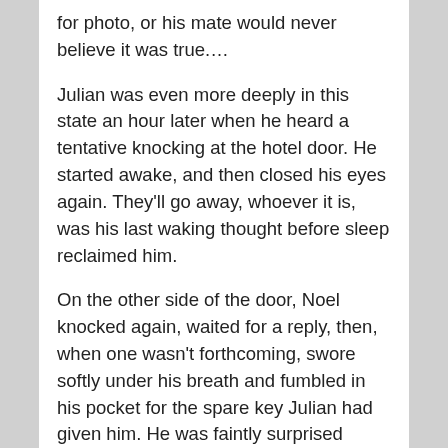for photo, or his mate would never believe it was true.…
Julian was even more deeply in this state an hour later when he heard a tentative knocking at the hotel door. He started awake, and then closed his eyes again. They'll go away, whoever it is, was his last waking thought before sleep reclaimed him.
On the other side of the door, Noel knocked again, waited for a reply, then, when one wasn't forthcoming, swore softly under his breath and fumbled in his pocket for the spare key Julian had given him. He was faintly surprised when he found it; he'd managed to lose everything else the night before. Including his own door key, his phone and a wristband that Dee had bought for